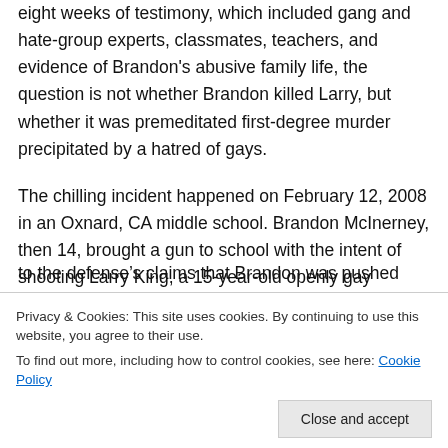eight weeks of testimony, which included gang and hate-group experts, classmates, teachers, and evidence of Brandon's abusive family life, the question is not whether Brandon killed Larry, but whether it was premeditated first-degree murder precipitated by a hatred of gays.

The chilling incident happened on February 12, 2008 in an Oxnard, CA middle school. Brandon McInerney, then 14, brought a gun to school with the intent of shooting Larry King, a 15-year-old openly gay student. Brandon claimed he was bothered by Larry's unwanted attention and during
to the defense's claims that Brandon was pushed into this
Privacy & Cookies: This site uses cookies. By continuing to use this website, you agree to their use.
To find out more, including how to control cookies, see here: Cookie Policy